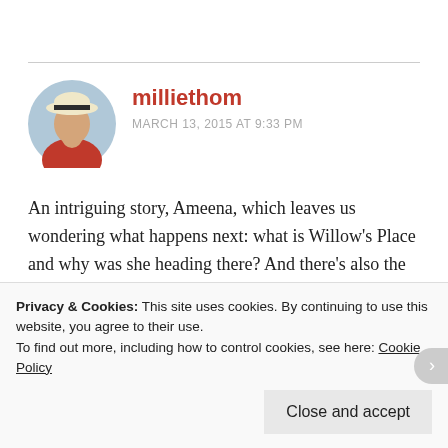[Figure (photo): Circular avatar photo of a woman wearing a white hat with a black band and a red top, viewed from the side/back]
milliethom
MARCH 13, 2015 AT 9:33 PM
An intriguing story, Ameena, which leaves us wondering what happens next: what is Willow's Place and why was she heading there? And there's also the question of those blackouts ... Good story! 🙂
★ Liked by 1 person
Privacy & Cookies: This site uses cookies. By continuing to use this website, you agree to their use.
To find out more, including how to control cookies, see here: Cookie Policy
Close and accept